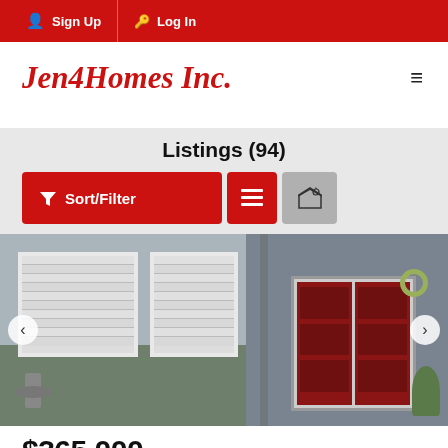Sign Up | Log In
Jen4Homes Inc.
Listings (94)
Sort/Filter
[Figure (photo): Exterior photo of a residential home showing windows with blinds on the left side and a red double door on the right side]
$365,000